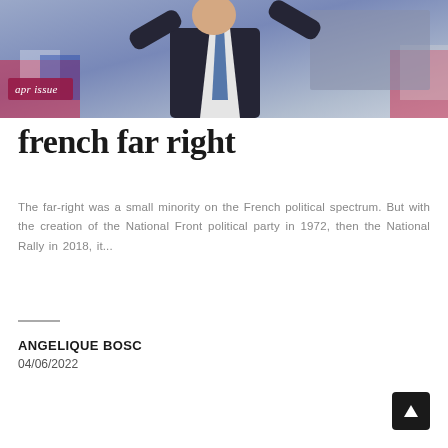[Figure (photo): A person in a dark suit with a blue tie raising their arms, photographed at what appears to be a political rally. A badge in the lower left reads 'apr issue' in italic text. Background shows flags and a blurred crowd.]
french far right
The far-right was a small minority on the French political spectrum. But with the creation of the National Front political party in 1972, then the National Rally in 2018, it...
ANGELIQUE BOSC
04/06/2022